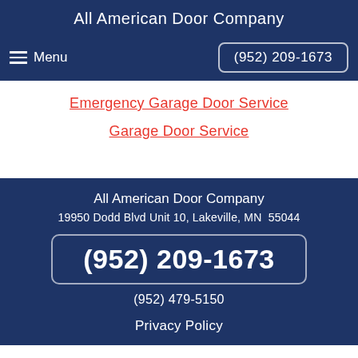All American Door Company
Menu   (952) 209-1673
Emergency Garage Door Service
Garage Door Service
All American Door Company
19950 Dodd Blvd Unit 10, Lakeville, MN  55044
(952) 209-1673
(952) 479-5150
Privacy Policy